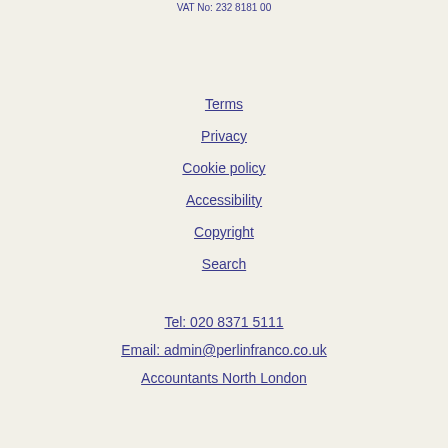VAT No: 232 8181 00
Terms
Privacy
Cookie policy
Accessibility
Copyright
Search
Tel: 020 8371 5111
Email: admin@perlinfranco.co.uk
Accountants North London